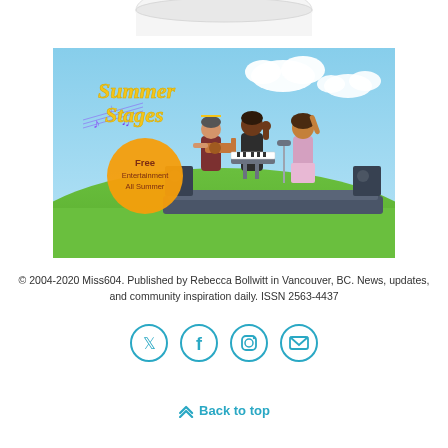[Figure (illustration): Partial view of a white mug at the top of the page]
[Figure (illustration): Summer Stages promotional banner with cartoon musicians on a stage, green hills, blue sky with clouds. Text reads 'Summer Stages' in yellow script and 'Free Entertainment All Summer' in an orange circle.]
© 2004-2020 Miss604. Published by Rebecca Bollwitt in Vancouver, BC. News, updates, and community inspiration daily. ISSN 2563-4437
[Figure (infographic): Row of four social media icon circles: Twitter bird, Facebook f, Instagram camera, envelope/email — all in teal/cyan outline style]
Back to top